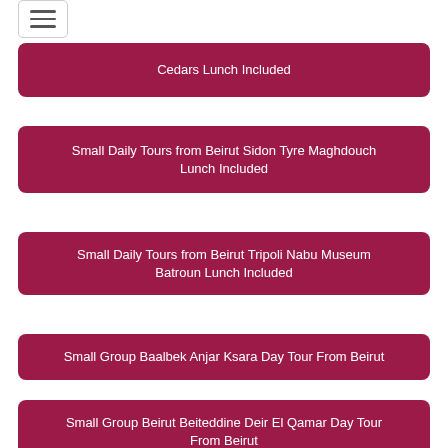Cedars Lunch Included
Small Daily Tours from Beirut Sidon Tyre Maghdouch Lunch Included
Small Daily Tours from Beirut Tripoli Nabu Museum Batroun Lunch Included
Small Group Baalbek Anjar Ksara Day Tour From Beirut
Small Group Beirut Beiteddine Deir El Qamar Day Tour From Beirut